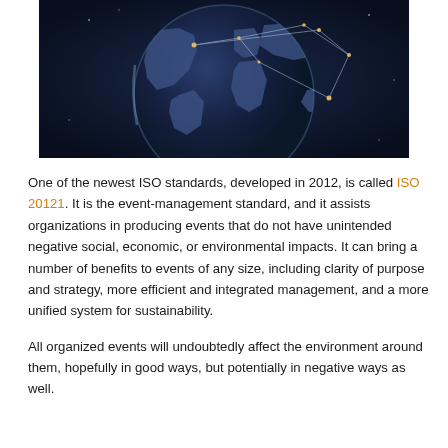[Figure (photo): Dark blue globe/Earth image with network connection lines and glowing points, showing continents including the Americas and Europe/Africa, against a dark background.]
One of the newest ISO standards, developed in 2012, is called ISO 20121. It is the event-management standard, and it assists organizations in producing events that do not have unintended negative social, economic, or environmental impacts. It can bring a number of benefits to events of any size, including clarity of purpose and strategy, more efficient and integrated management, and a more unified system for sustainability.
All organized events will undoubtedly affect the environment around them, hopefully in good ways, but potentially in negative ways as well.